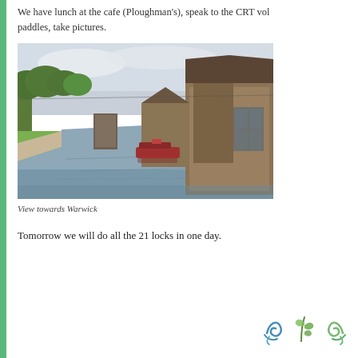We have lunch at the cafe (Ploughman's), speak to the CRT vol paddles, take pictures.
[Figure (photo): Canal view towards Warwick with narrowboat on the water, green trees on the left, historic brick buildings on the right, under a cloudy sky.]
View towards Warwick
Tomorrow we will do all the 21 locks in one day.